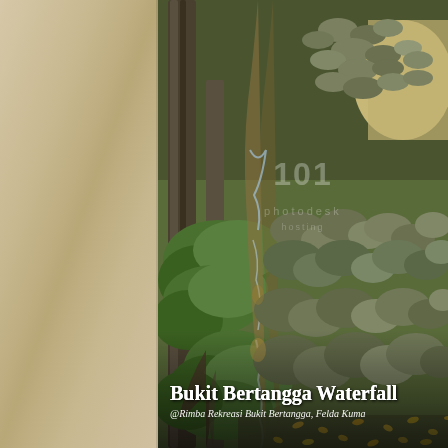[Figure (photo): A forest stream with mossy rocks and boulders at Bukit Bertangga Waterfall, Rimba Rekreasi Bukit Bertangga, Felda Kuma. The scene shows a rocky stream bed with green foliage, tree trunks, and a gentle cascade of water flowing between stones. A watermark from a photo stock site is overlaid on the image. Text overlay reads 'Bukit Bertangga Waterfall' and '@Rimba Rekreasi Bukit Bertangga, Felda Kuma'.]